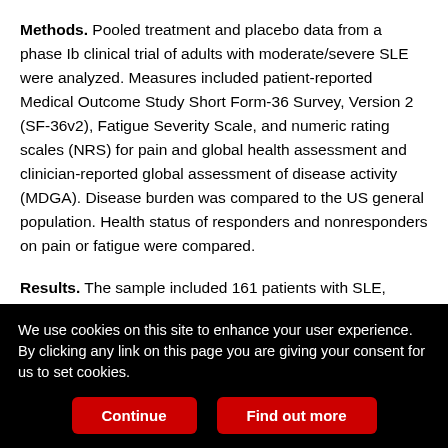Methods. Pooled treatment and placebo data from a phase Ib clinical trial of adults with moderate/severe SLE were analyzed. Measures included patient-reported Medical Outcome Study Short Form-36 Survey, Version 2 (SF-36v2), Fatigue Severity Scale, and numeric rating scales (NRS) for pain and global health assessment and clinician-reported global assessment of disease activity (MDGA). Disease burden was compared to the US general population. Health status of responders and nonresponders on pain or fatigue were compared.
Results. The sample included 161 patients with SLE, predominantly female (96%) and white (72%), with average age of 43 ± 11 years. Mean SF-36v2 component summary scores reflected overall
We use cookies on this site to enhance your user experience. By clicking any link on this page you are giving your consent for us to set cookies.